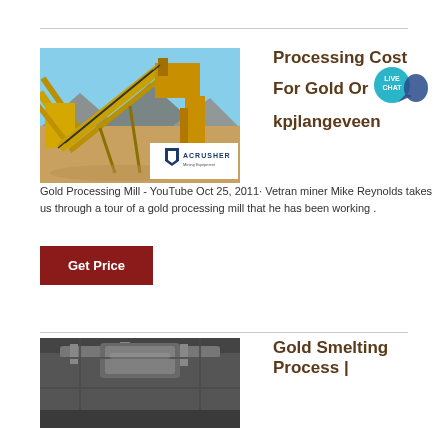[Figure (photo): Photo of gold mining/crushing equipment - conveyor belts and crushers at an open-pit mining site, with ACRUSHER Mining Equipment logo overlay]
Processing Cost For Gold Ore kpjlangeveen
Gold Processing Mill - YouTube Oct 25, 2011· Vetran miner Mike Reynolds takes us through a tour of a gold processing mill that he has been working .
Get Price
[Figure (photo): Interior photo of a gold smelting facility showing industrial metal ductwork and structural elements]
Gold Smelting Process |